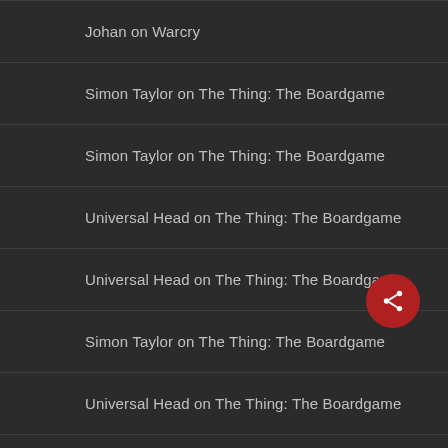Johan on Warcry
Simon Taylor on The Thing: The Boardgame
Simon Taylor on The Thing: The Boardgame
Universal Head on The Thing: The Boardgame
Universal Head on The Thing: The Boardgame
Simon Taylor on The Thing: The Boardgame
Universal Head on The Thing: The Boardgame